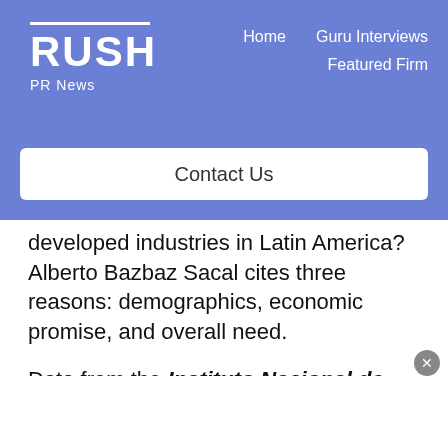RUSH PR News | Home | Guru Interviews | Featured Firm
Contact Us
developed industries in Latin America? Alberto Bazbaz Sacal cites three reasons: demographics, economic promise, and overall need.
Data from the Instituto Nacional de Estadística y Geografía shows 30 million people in Mexico between the